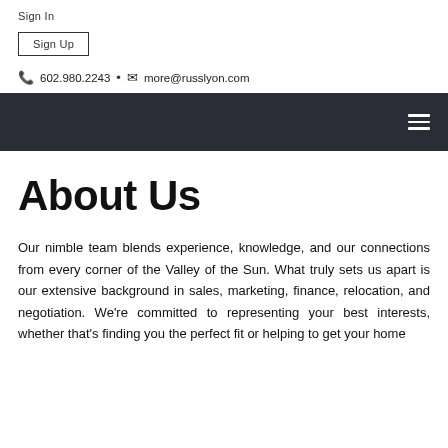Sign In
Sign Up
602.980.2243 • more@russlyon.com
About Us
Our nimble team blends experience, knowledge, and our connections from every corner of the Valley of the Sun. What truly sets us apart is our extensive background in sales, marketing, finance, relocation, and negotiation. We're committed to representing your best interests, whether that's finding you the perfect fit or helping to get your home...